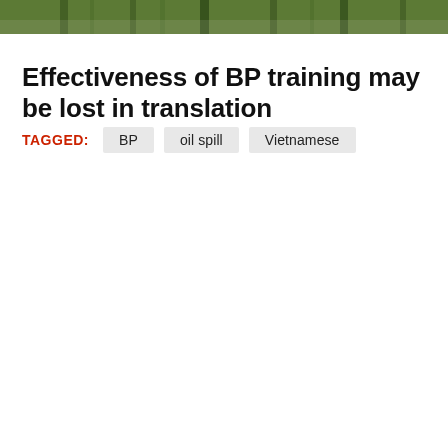[Figure (photo): Partial view of a green plant/vegetation photo cropped at the top of the page]
Effectiveness of BP training may be lost in translation
TAGGED: BP  oil spill  Vietnamese